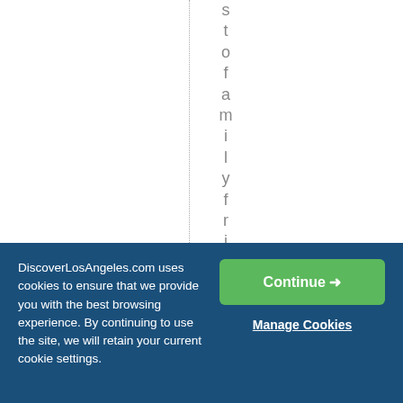[Figure (other): White area with a vertical dotted line and vertically stacked letters spelling 'stofa mi ly fri endl' (part of 'stofa mi ly fri endly') reading top to bottom]
DiscoverLosAngeles.com uses cookies to ensure that we provide you with the best browsing experience. By continuing to use the site, we will retain your current cookie settings.
Continue →
Manage Cookies